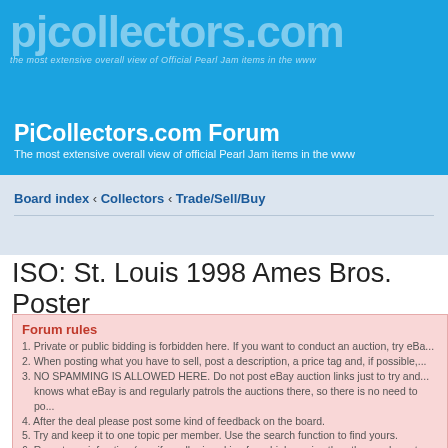[Figure (screenshot): PjCollectors.com forum website header banner with logo and 'forum' text on blue background]
PjCollectors.com Forum
The most extensive overall view of official Pearl Jam items in the www
Board index ‹ Collectors ‹ Trade/Sell/Buy
ISO: St. Louis 1998 Ames Bros. Poster
Forum rules
1. Private or public bidding is forbidden here. If you want to conduct an auction, try eBa...
2. When posting what you have to sell, post a description, a price tag and, if possible,...
3. NO SPAMMING IS ALLOWED HERE. Do not post eBay auction links just to try and... knows what eBay is and regularly patrols the auctions there, so there is no need to po...
4. After the deal please post some kind of feedback on the board.
5. Try and keep it to one topic per member. Use the search function to find yours.
6. Report any infraction (e.g. if a seller is asking for a higher price than the one he set...
7. If you need help or have a question, ask it here or contact an admin or moderator
8. Please DO NOT ASK FOR PRICES. This is a place for collectors, not a market!!
Trade Advices:
1. New members to the board will be expected to ship their item to an established boa... item will be sent out immediately. The PJC community here is one laregly based upon... integrity and respect. Many of the members have developed close friendships and trus...